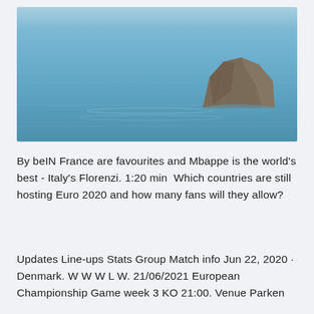[Figure (photo): A large rocky outcrop or sea stack sitting in calm blue ocean water, photographed in muted daylight. The water has gentle horizontal ripple patterns and the rock is brownish-grey, positioned towards the right side of the image.]
By beIN France are favourites and Mbappe is the world's best - Italy's Florenzi. 1:20 min  Which countries are still hosting Euro 2020 and how many fans will they allow?
Updates Line-ups Stats Group Match info Jun 22, 2020 · Denmark. W W W L W. 21/06/2021 European Championship Game week 3 KO 21:00. Venue Parken